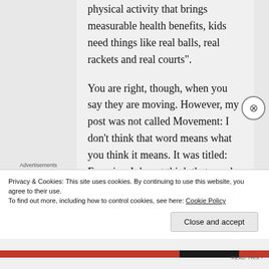physical activity that brings measurable health benefits, kids need things like real balls, real rackets and real courts".

You are right, though, when you say they are moving. However, my post was not called Movement: I don't think that word means what you think it means. It was titled: Exercise, I do not think that word means what
Advertisements
Privacy & Cookies: This site uses cookies. By continuing to use this website, you agree to their use.
To find out more, including how to control cookies, see here: Cookie Policy
Close and accept